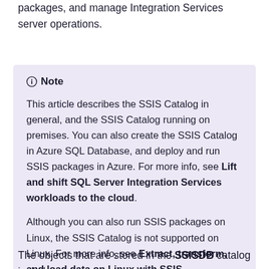packages, and manage Integration Services server operations.
Note
This article describes the SSIS Catalog in general, and the SSIS Catalog running on premises. You can also create the SSIS Catalog in Azure SQL Database, and deploy and run SSIS packages in Azure. For more info, see Lift and shift SQL Server Integration Services workloads to the cloud.

Although you can also run SSIS packages on Linux, the SSIS Catalog is not supported on Linux. For more info, see Extract, transform, and load data on Linux with SSIS.
The objects that are stored in the SSISDB catalog include